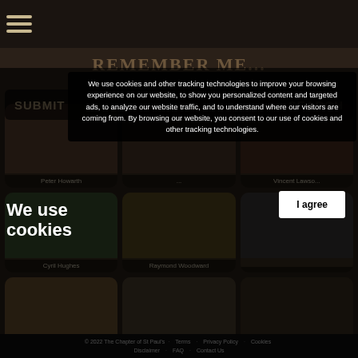REMEMBER ME...
We use cookies
We use cookies and other tracking technologies to improve your browsing experience on our website, to show you personalized content and targeted ads, to analyze our website traffic, and to understand where our visitors are coming from. By browsing our website, you consent to our use of cookies and other tracking technologies.
I agree
SUBMIT
SEARCH
Peter Howarth
Vincent Lawso...
Cyril Hughes
Raymond Woodward
Joyce Dawkins
Andrei Steckl...
© 2022 The Chapter of St Paul's  Terms  Privacy Policy  Cookies Disclaimer  FAQ  Contact Us